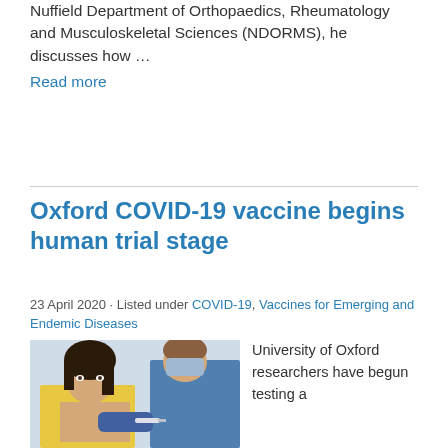Nuffield Department of Orthopaedics, Rheumatology and Musculoskeletal Sciences (NDORMS), he discusses how … Read more
Oxford COVID-19 vaccine begins human trial stage
23 April 2020 · Listed under COVID-19, Vaccines for Emerging and Endemic Diseases
[Figure (photo): Photo of a woman receiving a vaccine injection from a healthcare worker wearing blue gloves and a mask]
University of Oxford researchers have begun testing a